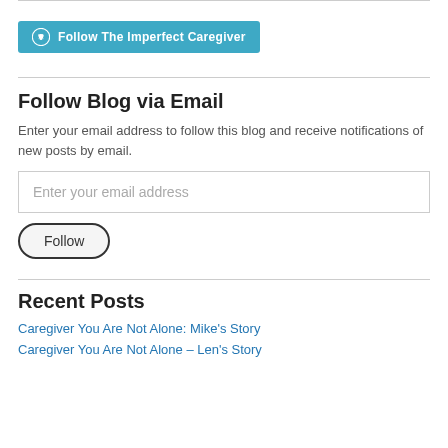[Figure (logo): WordPress Follow button: 'Follow The Imperfect Caregiver' on teal/blue background with WordPress icon]
Follow Blog via Email
Enter your email address to follow this blog and receive notifications of new posts by email.
Enter your email address
Follow
Recent Posts
Caregiver You Are Not Alone: Mike's Story
Caregiver You Are Not Alone – Len's Story